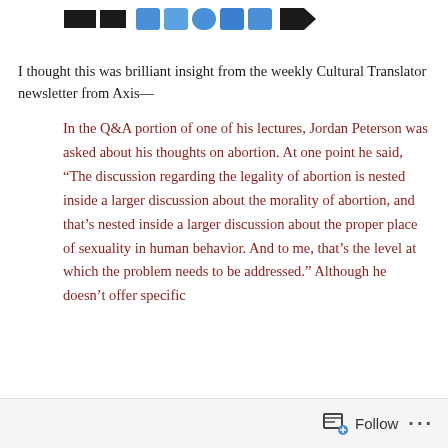[Figure (logo): Website header with logo blocks and navigation icon buttons in blue and black]
I thought this was brilliant insight from the weekly Cultural Translator newsletter from Axis—
In the Q&A portion of one of his lectures, Jordan Peterson was asked about his thoughts on abortion. At one point he said, “The discussion regarding the legality of abortion is nested inside a larger discussion about the morality of abortion, and that’s nested inside a larger discussion about the proper place of sexuality in human behavior. And to me, that’s the level at which the problem needs to be addressed.” Although he doesn’t offer specific
Follow   ...